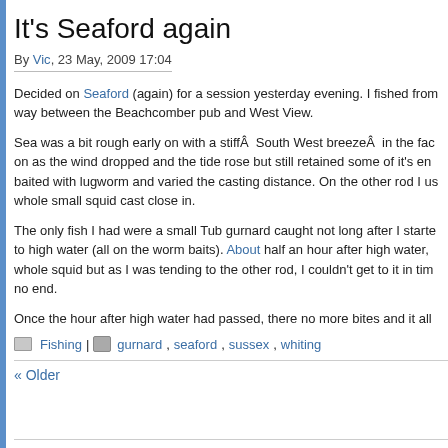It's Seaford again
By Vic, 23 May, 2009 17:04
Decided on Seaford (again) for a session yesterday evening. I fished from way between the Beachcomber pub and West View.
Sea was a bit rough early on with a stiffÂ  South West breezeÂ  in the face on as the wind dropped and the tide rose but still retained some of it's energy. baited with lugworm and varied the casting distance. On the other rod I us whole small squid cast close in.
The only fish I had were a small Tub gurnard caught not long after I starte to high water (all on the worm baits). About half an hour after high water, whole squid but as I was tending to the other rod, I couldn't get to it in tim no end.
Once the hour after high water had passed, there no more bites and it all
Fishing | gurnard, seaford, sussex, whiting
« Older